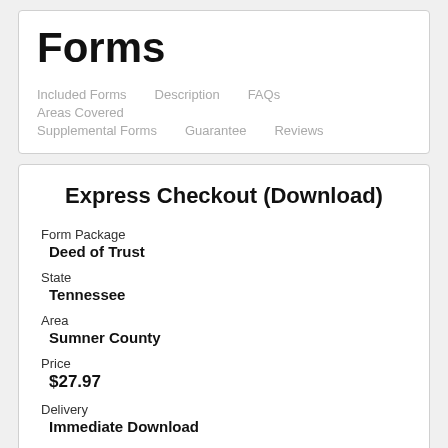Forms
Included Forms
Description
FAQs
Areas Covered
Supplemental Forms
Guarantee
Reviews
Express Checkout (Download)
Form Package
Deed of Trust
State
Tennessee
Area
Sumner County
Price
$27.97
Delivery
Immediate Download